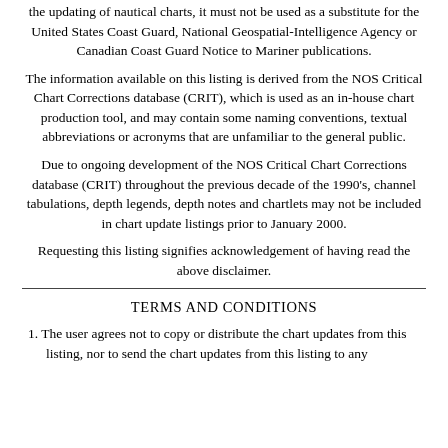the updating of nautical charts, it must not be used as a substitute for the United States Coast Guard, National Geospatial-Intelligence Agency or Canadian Coast Guard Notice to Mariner publications.
The information available on this listing is derived from the NOS Critical Chart Corrections database (CRIT), which is used as an in-house chart production tool, and may contain some naming conventions, textual abbreviations or acronyms that are unfamiliar to the general public.
Due to ongoing development of the NOS Critical Chart Corrections database (CRIT) throughout the previous decade of the 1990’s, channel tabulations, depth legends, depth notes and chartlets may not be included in chart update listings prior to January 2000.
Requesting this listing signifies acknowledgement of having read the above disclaimer.
TERMS AND CONDITIONS
1. The user agrees not to copy or distribute the chart updates from this listing, nor to send the chart updates from this listing to any